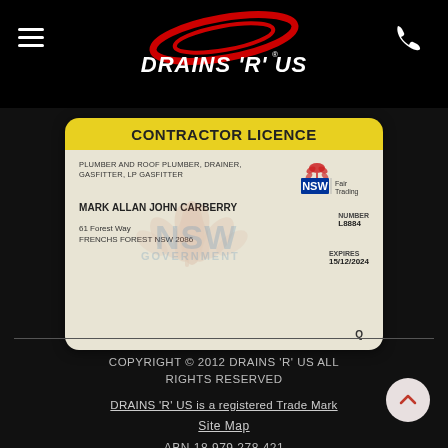DRAINS 'R' US
[Figure (illustration): Contractor Licence card issued by NSW Fair Trading to Mark Allan John Carberry, Plumber and Roof Plumber, Drainer, Gasfitter, LP Gasfitter. Number: L8884, Expires: 15/12/2024.]
COPYRIGHT © 2012 DRAINS 'R' US ALL RIGHTS RESERVED
DRAINS 'R' US is a registered Trade Mark
Site Map
ABN 18 979 278 421